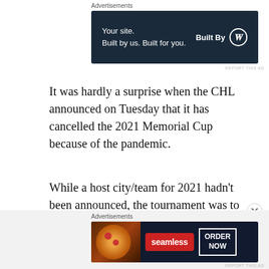[Figure (other): Advertisement banner: dark navy background, text 'Your site. Built by us. Built for you.' on left, 'Built By' with WordPress logo circle on right]
It was hardly a surprise when the CHL announced on Tuesday that it has cancelled the 2021 Memorial Cup because of the pandemic.
While a host city/team for 2021 hadn't been announced, the tournament was to have been played in Oshawa or Sault Ste. Marie. The 2020 tournament that was to have been held in Kelowna also was cancelled.
[Figure (other): Advertisement banner for Seamless food delivery: pizza image on left, red Seamless logo in center, 'ORDER NOW' button on right, dark background]